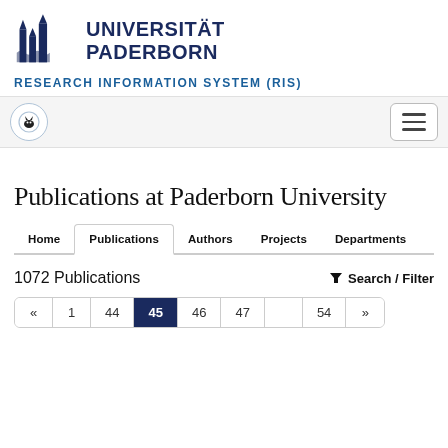[Figure (logo): Universität Paderborn logo with building silhouette icon in dark navy blue]
UNIVERSITÄT PADERBORN
RESEARCH INFORMATION SYSTEM (RIS)
[Figure (logo): Navigation bar with circular icon featuring a cat/jackalope silhouette and hamburger menu button]
Publications at Paderborn University
Home   Publications   Authors   Projects   Departments
1072 Publications
Search / Filter
«   1   44   45   46   47   54   »